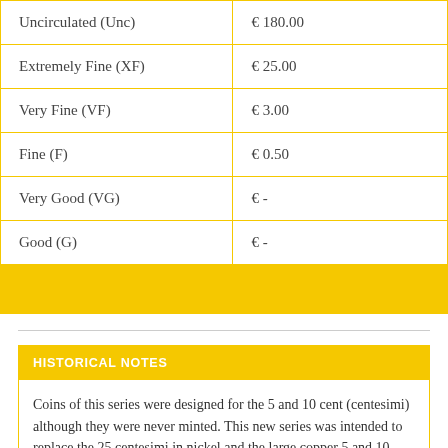| Grade | Price |
| --- | --- |
| Uncirculated (Unc) | € 180.00 |
| Extremely Fine (XF) | € 25.00 |
| Very Fine (VF) | € 3.00 |
| Fine (F) | € 0.50 |
| Very Good (VG) | € - |
| Good (G) | € - |
|  |  |
HISTORICAL NOTES
Coins of this series were designed for the 5 and 10 cent (centesimi) although they were never minted. This new series was intended to replace the 25 centesimi in nickel and the large copper 5 and 10 centesimi for a total value of 20'000'000